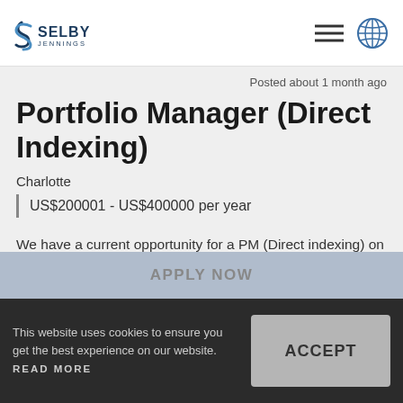Selby Jennings
Posted about 1 month ago
Portfolio Manager (Direct Indexing)
Charlotte
US$200001 - US$400000 per year
We have a current opportunity for a PM (Direct indexing) on a permanent basis. The position will be based in Charlotte, NC. For further information about this position please apply. RESPONSIBILITIE...
APPLY NOW
This website uses cookies to ensure you get the best experience on our website. READ MORE
ACCEPT